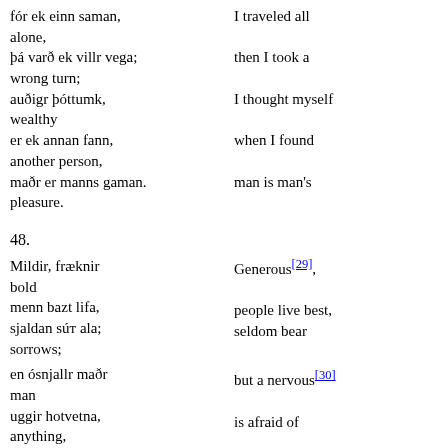fór ek einn saman, | I traveled all alone,
þá varð ek villr vega; | then I took a wrong turn;
auðigr þóttumk, | I thought myself wealthy
er ek annan fann, | when I found another person,
maðr er manns gaman. | man is man's pleasure.
48.
Mildir, fræknir | Generous[29], bold
menn bazt lifa, | people live best,
sjaldan súт ala; | seldom bear sorrows;
en ósnjallr maðr | but a nervous[30] man
uggir hotvetna, | is afraid of anything,
sýtir æ glöggr við gjöfum. | the niggard
always moans about gifts.[31]